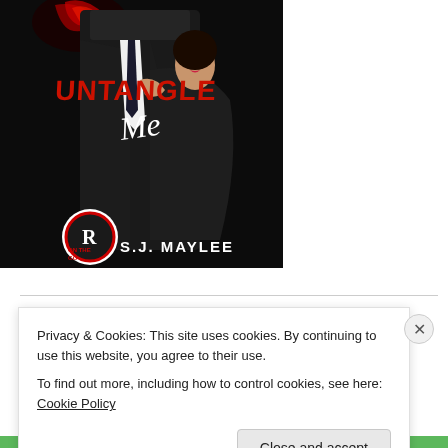[Figure (illustration): Book cover for 'Untangle Me' by S.J. Maylee. Dark background showing a man in a suit and a woman in a black dress embracing. Red stylized text reads 'UNTANGLE' with italic script 'Me' below. Bottom left shows a publisher logo with letter R in a circle. Bottom right shows author name 'S.J. MAYLEE' in white text.]
Available Now...
Privacy & Cookies: This site uses cookies. By continuing to use this website, you agree to their use.
To find out more, including how to control cookies, see here: Cookie Policy
Close and accept